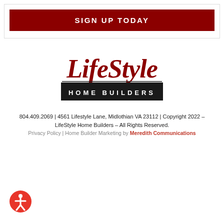SIGN UP TODAY
[Figure (logo): LifeStyle Home Builders logo — red cursive 'LifeStyle' text above a dark banner with 'HOME BUILDERS' in spaced white letters]
804.409.2069 | 4561 Lifestyle Lane, Midlothian VA 23112 | Copyright 2022 – LifeStyle Home Builders – All Rights Reserved.
Privacy Policy | Home Builder Marketing by Meredith Communications
[Figure (illustration): Red circular accessibility icon with white person figure]